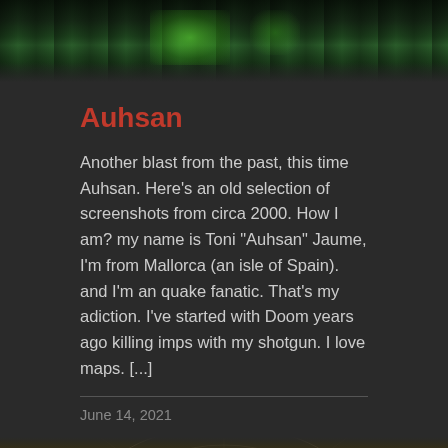[Figure (screenshot): Dark green dungeon/game screenshot showing stone columns with greenish lighting, top portion of the page]
Auhsan
Another blast from the past, this time Auhsan. Here's an old selection of screenshots from circa 2000. How I am? my name is Toni “Auhsan” Jaume, I’m from Mallorca (an isle of Spain). and I’m an quake fanatic. That’s my adiction. I’ve started with Doom years ago killing imps with my shotgun. I love maps. [...]
June 14, 2021
[Figure (screenshot): Stone floor/ceiling game screenshot with circular crack pattern and faint text markings, bottom portion of the page]